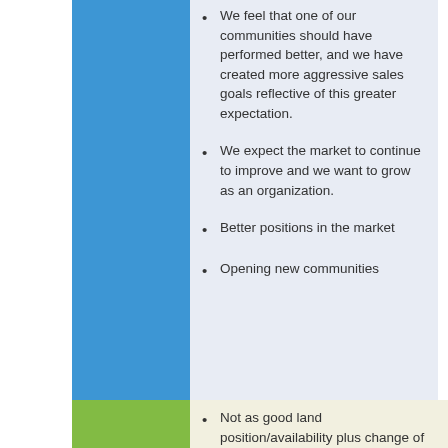We feel that one of our communities should have performed better, and we have created more aggressive sales goals reflective of this greater expectation.
We expect the market to continue to improve and we want to grow as an organization.
Better positions in the market
Opening new communities
Not as good land position/availability plus change of product line.
We are not seeing tremendous growth in demand